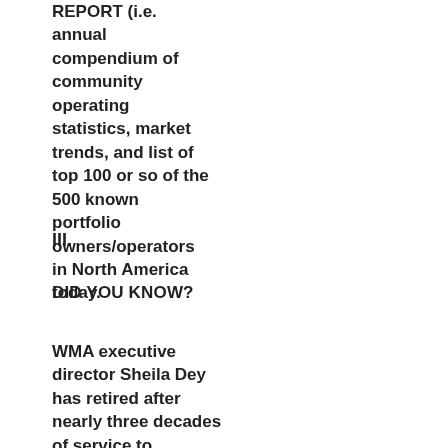REPORT (i.e. annual compendium of community operating statistics, market trends, and list of top 100 or so of the 500 known portfolio owners/operators in North America today.
III.
DID YOU KNOW?
WMA executive director Sheila Dey has retired after nearly three decades of service to